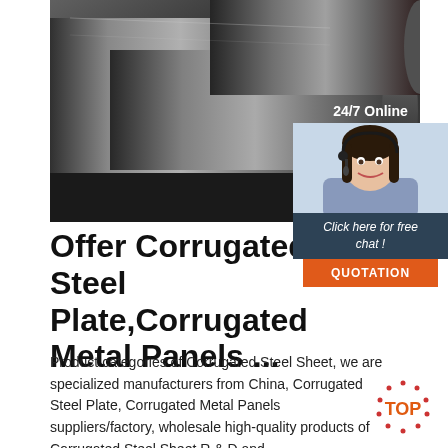[Figure (photo): Three polished steel round bars/rods lying on a dark surface, photographed from above at an angle]
[Figure (infographic): 24/7 Online customer service chat widget with a female operator wearing a headset, blue background, 'Click here for free chat!' text, and an orange QUOTATION button]
Offer Corrugated Steel Plate,Corrugated Metal Panels ...
Product categories of Corrugated Steel Sheet, we are specialized manufacturers from China, Corrugated Steel Plate, Corrugated Metal Panels suppliers/factory, wholesale high-quality products of Corrugated Steel Sheet R & D and ...
[Figure (logo): TOP badge with red dots forming a circle around the letters TOP in orange]